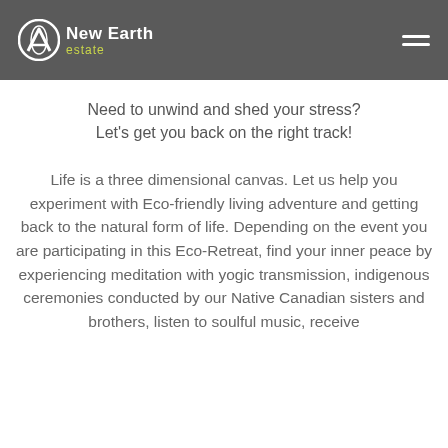New Earth estate
Need to unwind and shed your stress? Let's get you back on the right track!
Life is a three dimensional canvas. Let us help you experiment with Eco-friendly living adventure and getting back to the natural form of life. Depending on the event you are participating in this Eco-Retreat, find your inner peace by experiencing meditation with yogic transmission, indigenous ceremonies conducted by our Native Canadian sisters and brothers, listen to soulful music, receive